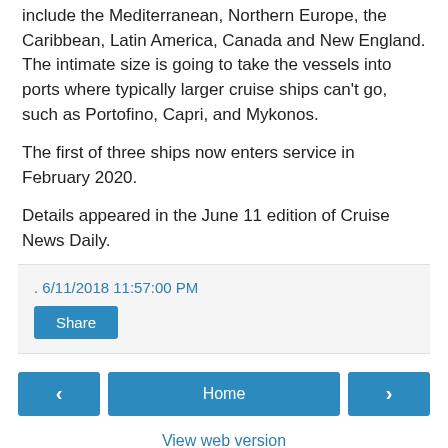include the Mediterranean, Northern Europe, the Caribbean, Latin America, Canada and New England. The intimate size is going to take the vessels into ports where typically larger cruise ships can't go, such as Portofino, Capri, and Mykonos.
The first of three ships now enters service in February 2020.
Details appeared in the June 11 edition of Cruise News Daily.
. 6/11/2018 11:57:00 PM
Share
< Home >
View web version
Powered by Blogger.